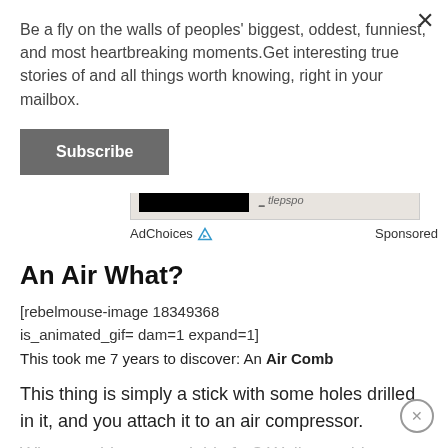Be a fly on the walls of peoples' biggest, oddest, funniest, and most heartbreaking moments.Get interesting true stories of and all things worth knowing, right in your mailbox.
Subscribe
[Figure (screenshot): Ad banner with black rectangle and AdChoices / Sponsored labels]
An Air What?
[rebelmouse-image 18349368 is_animated_gif= dam=1 expand=1]
This took me 7 years to discover: An Air Comb
This thing is simply a stick with some holes drilled in it, and you attach it to an air compressor.
What would you need this for? Well, my old